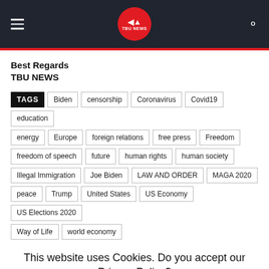TBU NEWS
Best Regards
TBU NEWS
TAGS Biden censorship Coronavirus Covid19 education energy Europe foreign relations free press Freedom freedom of speech future human rights human society Illegal Immigration Joe Biden LAW AND ORDER MAGA 2020 peace Trump United States US Economy US Elections 2020 Way of Life world economy
This website uses Cookies. Do you accept our Privacy Policy?